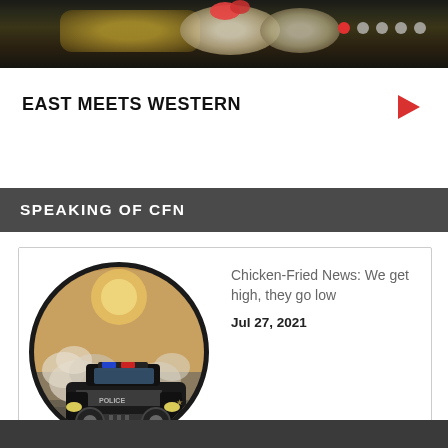[Figure (photo): Top banner showing sushi/food photo with carousel navigation dots (one red active dot and four grey dots) in the upper right]
EAST MEETS WESTERN
SPEAKING OF CFN
[Figure (illustration): Circular illustration of a police car with dramatic smoke/dust clouds, retro travel poster style artwork]
Chicken-Fried News: We get high, they go low
Jul 27, 2021